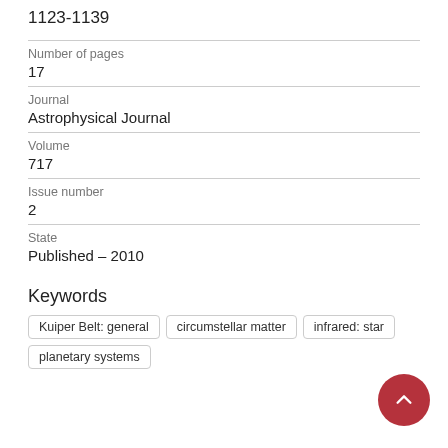1123-1139
Number of pages
17
Journal
Astrophysical Journal
Volume
717
Issue number
2
State
Published – 2010
Keywords
Kuiper Belt: general
circumstellar matter
infrared: star
planetary systems